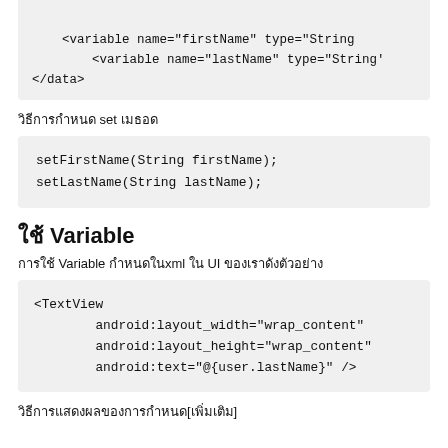<variable name="firstName" type="String"
    <variable name="lastName" type="String'
</data>
วิธีการกำหนด set เมธอด
setFirstName(String firstName);
setLastName(String lastName);
ใช้ Variable
การใช้ Variable กำหนดในxml ใน UI ของเราดังตัวอย่าง
<TextView
        android:layout_width="wrap_content"
        android:layout_height="wrap_content"
        android:text="@{user.lastName}" />
วิธีการแสดงผลของการกำหนด[เพิ่มเติม]